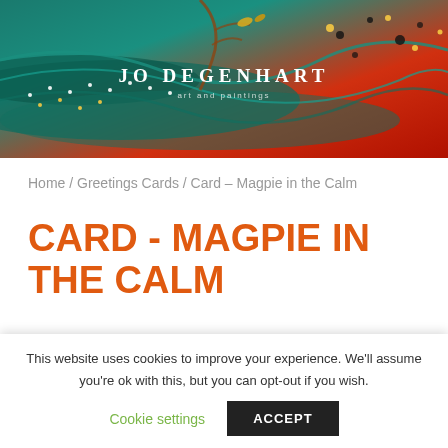[Figure (illustration): Decorative banner header with colorful abstract painting in teal, green, and red tones with the text 'Jo Degenhart' and subtitle in white]
Home / Greetings Cards / Card – Magpie in the Calm
CARD - MAGPIE IN THE CALM
This is an A6 greeting card of my painting
This website uses cookies to improve your experience. We'll assume you're ok with this, but you can opt-out if you wish.
Cookie settings   ACCEPT